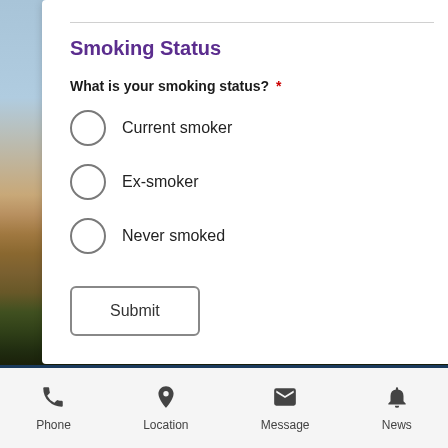Smoking Status
What is your smoking status? *
Current smoker
Ex-smoker
Never smoked
Phone  Location  Message  News